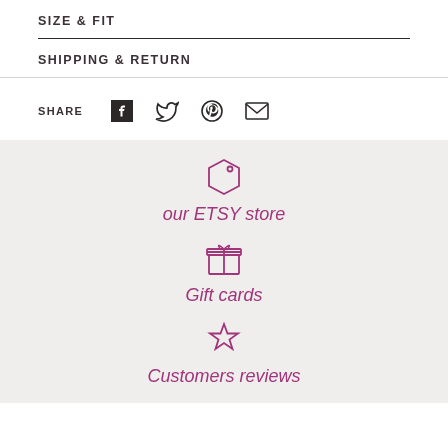SIZE & FIT
SHIPPING & RETURN
SHARE
[Figure (infographic): Social share icons: Facebook, Twitter, Pinterest, Email]
[Figure (infographic): Tag icon with text 'our ETSY store']
[Figure (infographic): Gift box icon with text 'Gift cards']
[Figure (infographic): Star icon with text 'Customers reviews']